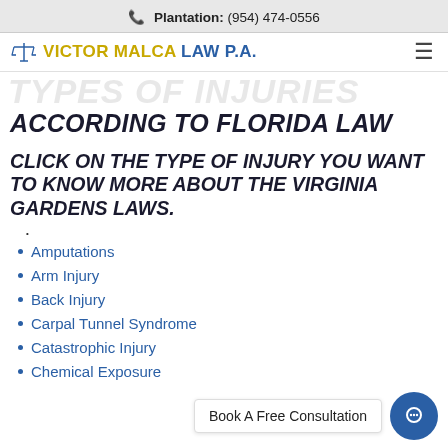Plantation: (954) 474-0556
[Figure (logo): Victor Malca Law P.A. logo with scales of justice icon]
ACCORDING TO FLORIDA LAW
CLICK ON THE TYPE OF INJURY YOU WANT TO KNOW MORE ABOUT THE VIRGINIA GARDENS LAWS.
Amputations
Arm Injury
Back Injury
Carpal Tunnel Syndrome
Catastrophic Injury
Chemical Exposure
Book A Free Consultation